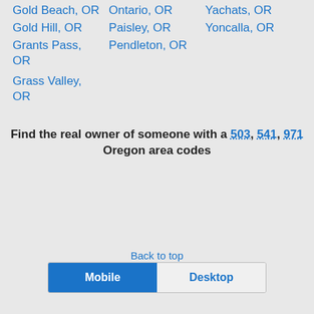Gold Beach, OR
Ontario, OR
Yachats, OR
Gold Hill, OR
Paisley, OR
Yoncalla, OR
Grants Pass, OR
Pendleton, OR
Grass Valley, OR
Find the real owner of someone with a 503, 541, 971 Oregon area codes
Back to top